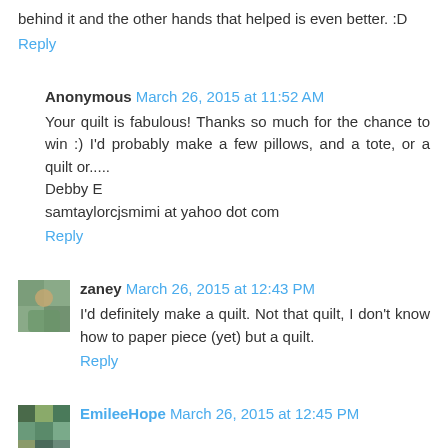behind it and the other hands that helped is even better. :D
Reply
Anonymous March 26, 2015 at 11:52 AM
Your quilt is fabulous! Thanks so much for the chance to win :) I'd probably make a few pillows, and a tote, or a quilt or.....
Debby E
samtaylorcjsmimi at yahoo dot com
Reply
zaney March 26, 2015 at 12:43 PM
I'd definitely make a quilt. Not that quilt, I don't know how to paper piece (yet) but a quilt.
Reply
EmileeHope March 26, 2015 at 12:45 PM